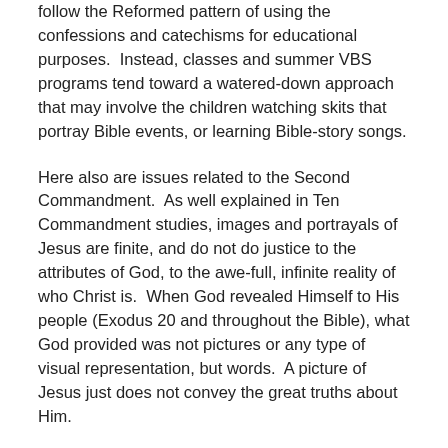follow the Reformed pattern of using the confessions and catechisms for educational purposes.  Instead, classes and summer VBS programs tend toward a watered-down approach that may involve the children watching skits that portray Bible events, or learning Bible-story songs.
Here also are issues related to the Second Commandment.  As well explained in Ten Commandment studies, images and portrayals of Jesus are finite, and do not do justice to the attributes of God, to the awe-full, infinite reality of who Christ is.  When God revealed Himself to His people (Exodus 20 and throughout the Bible), what God provided was not pictures or any type of visual representation, but words.  A picture of Jesus just does not convey the great truths about Him.
Though not fitting precisely within the bounds of the Second Commandment, there are also other factors...